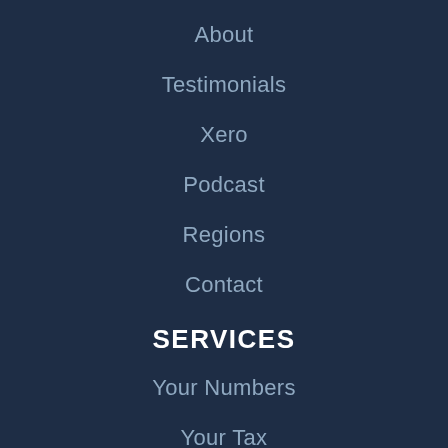About
Testimonials
Xero
Podcast
Regions
Contact
SERVICES
Your Numbers
Your Tax
Your Business